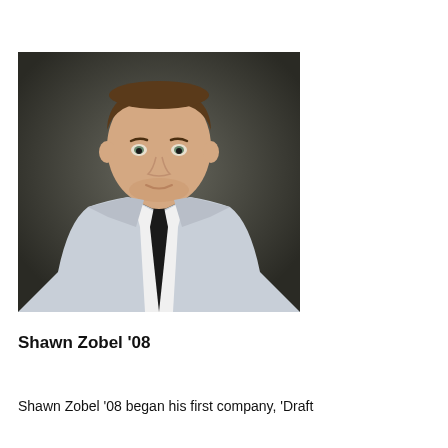[Figure (photo): Professional headshot of a young man in a light grey suit, white dress shirt, and black tie, photographed against a dark grey background.]
Shawn Zobel '08
Shawn Zobel '08 began his first company, 'Draft